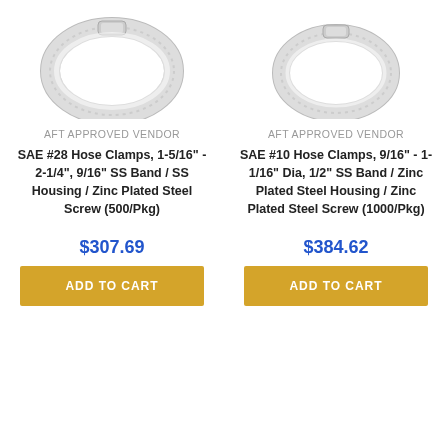[Figure (photo): Photo of a stainless steel hose clamp (SAE #28), top portion visible, left product column]
[Figure (photo): Photo of a stainless steel hose clamp (SAE #10), top portion visible, right product column]
AFT APPROVED VENDOR
SAE #28 Hose Clamps, 1-5/16" - 2-1/4", 9/16" SS Band / SS Housing / Zinc Plated Steel Screw (500/Pkg)
AFT APPROVED VENDOR
SAE #10 Hose Clamps, 9/16" - 1-1/16" Dia, 1/2" SS Band / Zinc Plated Steel Housing / Zinc Plated Steel Screw (1000/Pkg)
$307.69
ADD TO CART
$384.62
ADD TO CART